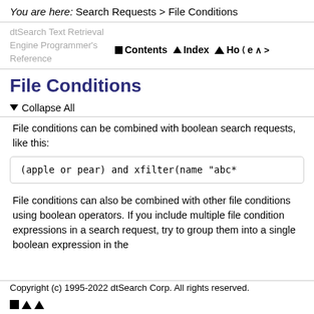You are here: Search Requests > File Conditions
dtSearch Text Retrieval Engine Programmer's Reference
File Conditions
▴ Collapse All
File conditions can be combined with boolean search requests, like this:
File conditions can also be combined with other file conditions using boolean operators. If you include multiple file condition expressions in a search request, try to group them into a single boolean expression in the
Copyright (c) 1995-2022 dtSearch Corp. All rights reserved.